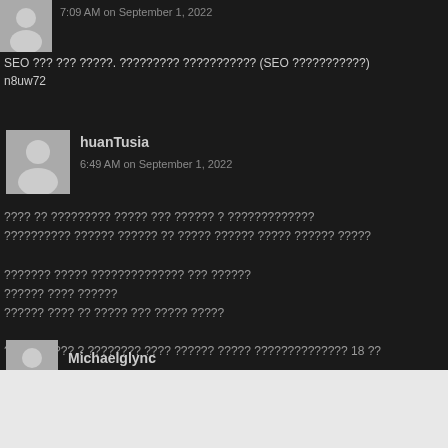7:09 AM on September 1, 2022
SEO ??? ??? ?????. ????????? ??????????? (SEO ???????????)
n8uw72
huanTusia
6:49 AM on September 1, 2022
???? ?? ????????? ????? ??? ?????? ? ?????????????
?????????? ?????? ?????? ?? ????? ?????? ????? ?????? ?????
??????? ????? ?????????????? ??? ??????
?????? ???? ??????
?????? ???? ?? ????? ??? ????? ?????
???? ?????? ? ???????? ???? ?????? ????? ?????????????? 18 ??
Michaelglync
webs
Submission